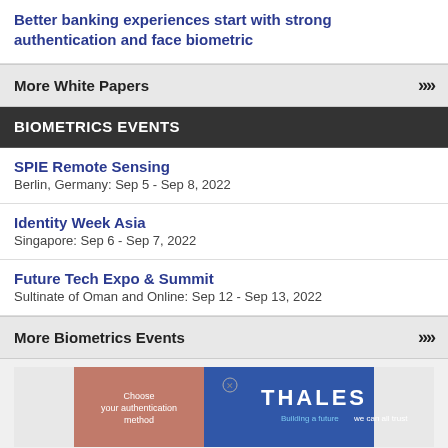Better banking experiences start with strong authentication and face biometric
More White Papers
BIOMETRICS EVENTS
SPIE Remote Sensing
Berlin, Germany: Sep 5 - Sep 8, 2022
Identity Week Asia
Singapore: Sep 6 - Sep 7, 2022
Future Tech Expo & Summit
Sultinate of Oman and Online: Sep 12 - Sep 13, 2022
More Biometrics Events
[Figure (illustration): Thales advertisement showing authentication interface with 'Choose your authentication method' and Thales branding with tagline 'Building a future we can all trust']